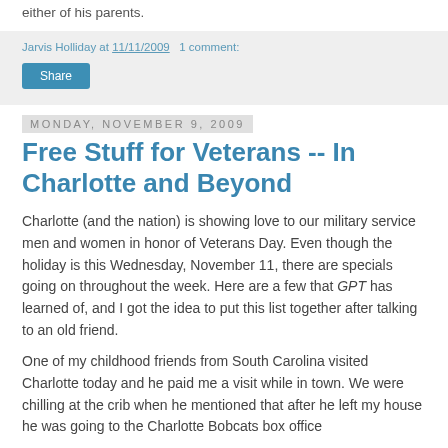either of his parents.
Jarvis Holliday at 11/11/2009   1 comment:
Share
Monday, November 9, 2009
Free Stuff for Veterans -- In Charlotte and Beyond
Charlotte (and the nation) is showing love to our military service men and women in honor of Veterans Day. Even though the holiday is this Wednesday, November 11, there are specials going on throughout the week. Here are a few that GPT has learned of, and I got the idea to put this list together after talking to an old friend.
One of my childhood friends from South Carolina visited Charlotte today and he paid me a visit while in town. We were chilling at the crib when he mentioned that after he left my house he was going to the Charlotte Bobcats box office